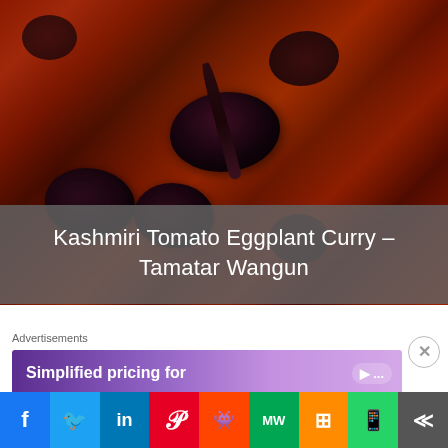[Figure (photo): Close-up photo of Kashmiri Tomato Eggplant Curry (Tamatar Wangun) in a white bowl — rich reddish-orange tomato sauce with dark eggplant pieces and a spoon.]
Kashmiri Tomato Eggplant Curry – Tamatar Wangun
Advertisements
Simplified pricing for
f  Twitter  in  P  reddit  MW  mix  WhatsApp  More